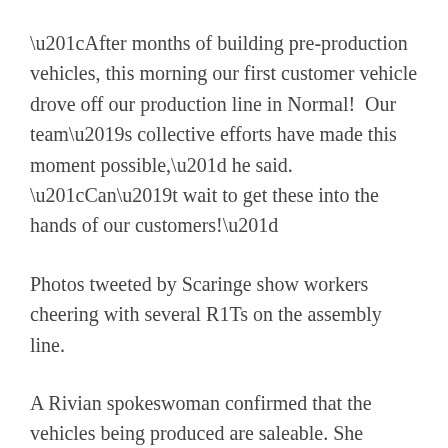“After months of building pre-production vehicles, this morning our first customer vehicle drove off our production line in Normal!  Our team’s collective efforts have made this moment possible,” he said. “Can’t wait to get these into the hands of our customers!”
Photos tweeted by Scaringe show workers cheering with several R1Ts on the assembly line.
A Rivian spokeswoman confirmed that the vehicles being produced are saleable. She declined to discuss the company’s plans for ramping-up production, including how many trucks were produced today, and who will be the first customers to receive the vehicles.
The beginning of production, which has been delayed